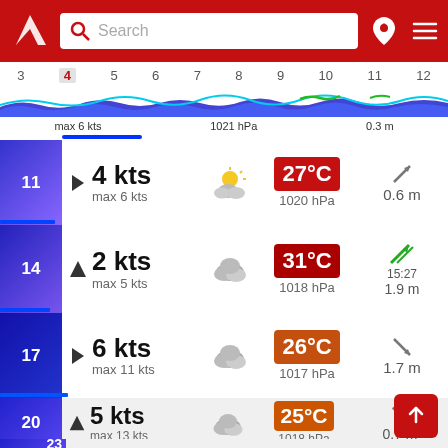Search
[Figure (screenshot): Horizontal timeline with hours 3-12, hour 4 highlighted, wave chart with blue/cyan wave lines]
max 6 kts   1021 hPa   0.3 m
11  ▶  4 kts  max 6 kts  ☀️  27°C  1020 hPa  ↗  0.6 m
14  ▲  2 kts  max 5 kts  ☁️  31°C  1018 hPa  ↗ green  15:27  1.9 m
17  ▶  6 kts  max 11 kts  ☁️  26°C  1017 hPa  ↘  1.7 m
20  ▲  5 kts  max 13 kts  ☁️  25°C  1018 hPa  ↘  0.7 m
23  ▲  4 kts  22°C  22:31